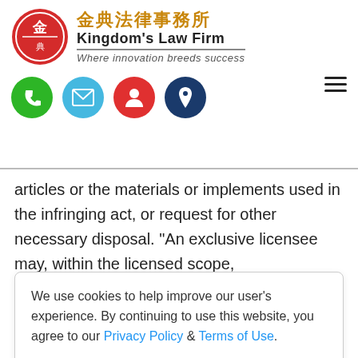[Figure (logo): Kingdom's Law Firm logo with red circular emblem containing Chinese characters, gold Chinese text '金典法律事務所', bold English 'Kingdom's Law Firm', italic tagline 'Where innovation breeds success']
[Figure (infographic): Row of four circular icon buttons: green phone, cyan email, red person/account, navy location pin. Hamburger menu icon on right.]
articles or the materials or implements used in the infringing act, or request for other necessary disposal. "An exclusive licensee may, within the licensed scope,
We use cookies to help improve our user's experience. By continuing to use this website, you agree to our Privacy Policy & Terms of Use.
restore the impaired reputation.